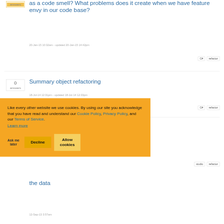answers
as a code smell? What problems does it create when we have feature envy in our code base?
20-Jan-15 10:32am - updated 20-Jan-15 14:42pm
C#   refactor
0
answers
Summary object refactoring
18-Jul-14 12:31pm - updated 18-Jul-14 12:33pm
C#   refactor
2010 and
13 0:16am
studio   refactor
the data
Like every other website we use cookies. By using our site you acknowledge that you have read and understand our Cookie Policy, Privacy Policy, and our Terms of Service. Learn more
Ask me later   Decline   Allow cookies